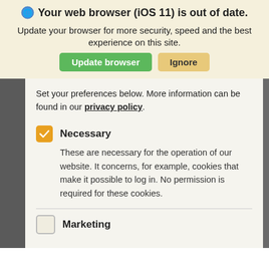Your web browser (iOS 11) is out of date.
Update your browser for more security, speed and the best experience on this site.
Set your preferences below. More information can be found in our privacy policy.
Necessary
These are necessary for the operation of our website. It concerns, for example, cookies that make it possible to log in. No permission is required for these cookies.
Marketing